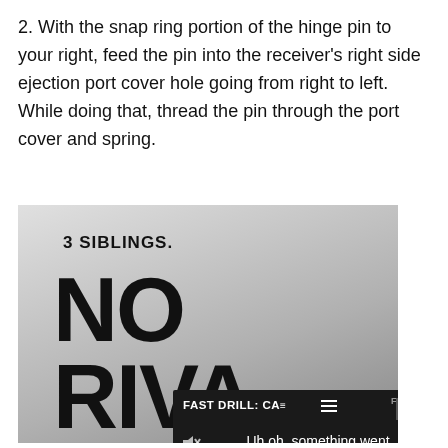2. With the snap ring portion of the hinge pin to your right, feed the pin into the receiver's right side ejection port cover hole going from right to left. While doing that, thread the pin through the port cover and spring.
[Figure (screenshot): Screenshot showing a movie/show advertisement image for 'NO RIVAL' with text '3 SIBLINGS.' and 'NO RIVA[L]', overlaid with a video player error popup reading 'FAST DRILL: CA[RE] / Uh oh, something went wrong' with playback controls showing 0:00, and a close X button.]